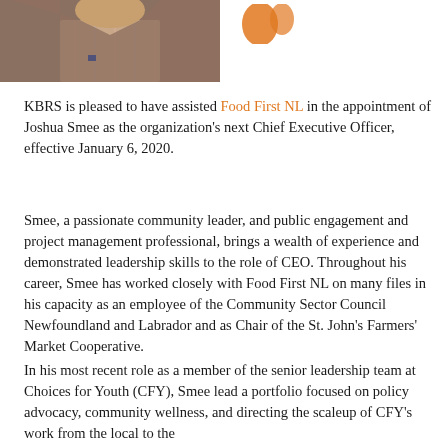[Figure (photo): Portrait photo of Joshua Smee in a plaid/checked shirt and grey blazer, cropped at top of page. To the right is a partial logo (orange graphic element visible).]
KBRS is pleased to have assisted Food First NL in the appointment of Joshua Smee as the organization's next Chief Executive Officer, effective January 6, 2020.
Smee, a passionate community leader, and public engagement and project management professional, brings a wealth of experience and demonstrated leadership skills to the role of CEO. Throughout his career, Smee has worked closely with Food First NL on many files in his capacity as an employee of the Community Sector Council Newfoundland and Labrador and as Chair of the St. John's Farmers' Market Cooperative.
In his most recent role as a member of the senior leadership team at Choices for Youth (CFY), Smee lead a portfolio focused on policy advocacy, community wellness, and directing the scaleup of CFY's work from the local to the